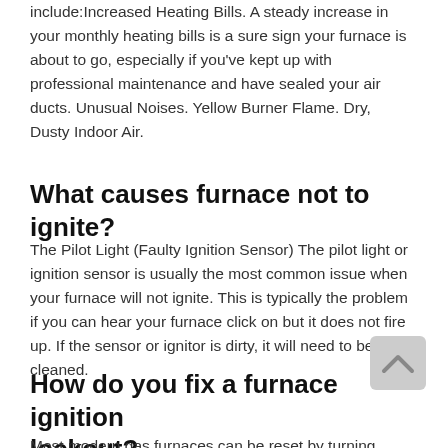include:Increased Heating Bills. A steady increase in your monthly heating bills is a sure sign your furnace is about to go, especially if you've kept up with professional maintenance and have sealed your air ducts. Unusual Noises. Yellow Burner Flame. Dry, Dusty Indoor Air.
What causes furnace not to ignite?
The Pilot Light (Faulty Ignition Sensor) The pilot light or ignition sensor is usually the most common issue when your furnace will not ignite. This is typically the problem if you can hear your furnace click on but it does not fire up. If the sensor or ignitor is dirty, it will need to be cleaned.
How do you fix a furnace ignition lockout?
Most modern gas furnaces can be reset by turning